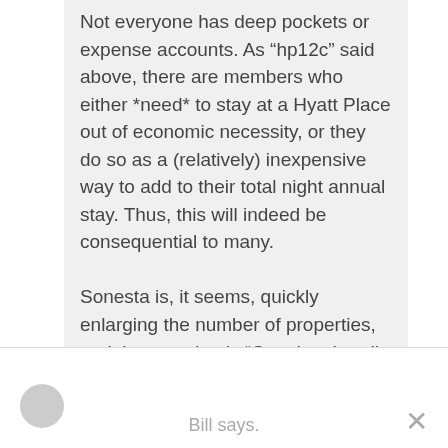Not everyone has deep pockets or expense accounts. As "hp12c" said above, there are members who either *need* to stay at a Hyatt Place out of economic necessity, or they do so as a (relatively) inexpensive way to add to their total night annual stay. Thus, this will indeed be consequential to many.

Sonesta is, it seems, quickly enlarging the number of properties, and the question is "Can they handle it?"
Bill says.